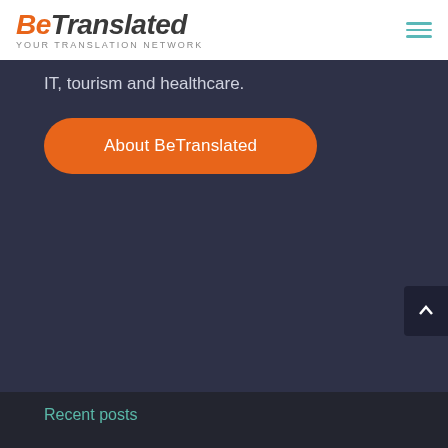[Figure (logo): BeTranslated logo — italic bold 'Be' in orange and 'Translated' in dark gray, with tagline 'YOUR TRANSLATION NETWORK' below in small caps gray]
IT, tourism and healthcare.
About BeTranslated
Recent posts